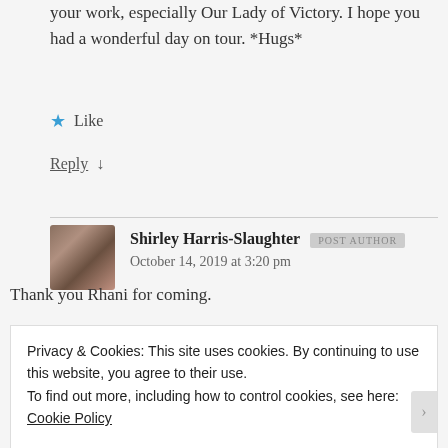your work, especially Our Lady of Victory. I hope you had a wonderful day on tour. *Hugs*
★ Like
Reply ↓
Shirley Harris-Slaughter POST AUTHOR
October 14, 2019 at 3:20 pm
Thank you Rhani for coming.
Privacy & Cookies: This site uses cookies. By continuing to use this website, you agree to their use.
To find out more, including how to control cookies, see here: Cookie Policy
Close and accept